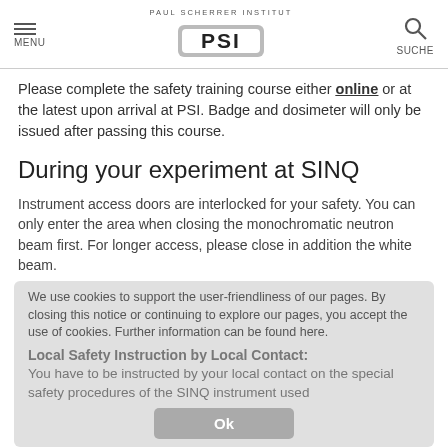PAUL SCHERRER INSTITUT PSI | MENU | SUCHE
Please complete the safety training course either online or at the latest upon arrival at PSI. Badge and dosimeter will only be issued after passing this course.
During your experiment at SINQ
Instrument access doors are interlocked for your safety. You can only enter the area when closing the monochromatic neutron beam first. For longer access, please close in addition the white beam.
We use cookies to support the user-friendliness of our pages. By closing this notice or continuing to explore our pages, you accept the use of cookies. Further information can be found here.
Local Safety Instruction by Local Contact:
You have to be instructed by your local contact on the special safety procedures of the SINQ instrument used
– You confirm this introduction with your signature (Instrument safety declaration form)